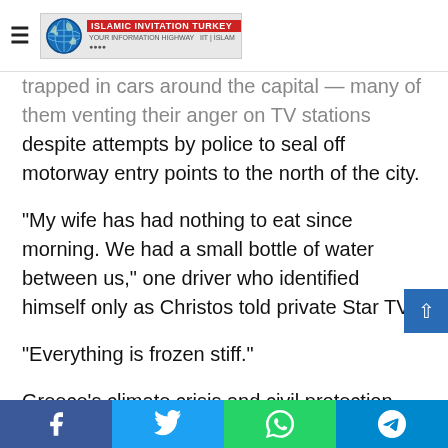Islamic Invitation Turkey - logo and navigation
trapped in cars around the capital — many of them venting their anger on TV stations despite attempts by police to seal off motorway entry points to the north of the city.
“My wife has had nothing to eat since morning. We had a small bottle of water between us,” one driver who identified himself only as Christos told private Star TV.
“Everything is frozen stiff.”
Greece’s climate crisis and civil protection minister Christos Stylianides apologised for the chaos and blamed the company managing the motorway for not keeping it open.
“If the company had acted appropriately, we would not have
Social share buttons: Facebook, Twitter, WhatsApp, Telegram